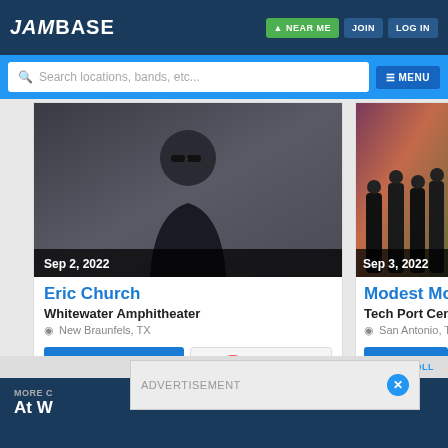JamBase | NEAR ME | JOIN | LOG IN
Search locations, bands, etc... | MENU
[Figure (photo): Photo of Eric Church, male artist in black jacket and sunglasses against dark background, with date overlay Sep 2, 2022]
Sep 2, 2022
Eric Church
Whitewater Amphitheater
New Braunfels, TX
TICKETS & INFO | CALENDAR
[Figure (photo): Photo of Modest Mouse band members standing in front of colorful wall, with date overlay Sep 3, 2022]
Sep 3, 2022
Modest Mouse
Tech Port Center
San Antonio, TX
TICKETS & INFO
SWIPE TO SCROLL
ADVERTISEMENT
MORE C... At W...